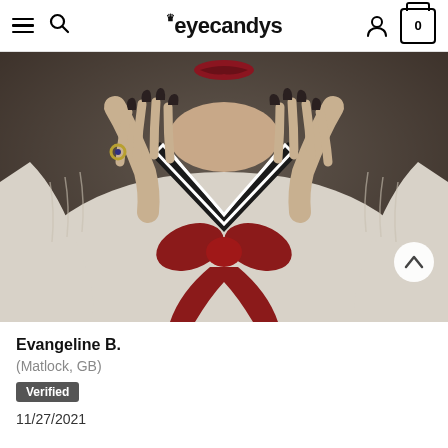eyecandys — navigation bar with hamburger menu, search, account, and cart (0)
[Figure (photo): Close-up photo of a person wearing a white cable-knit cardigan over a black and white sailor-style top with a red bow/ribbon, hands with long dark nails raised near the collar, red lips visible at top. A scroll-to-top button appears in the bottom-right of the image.]
Evangeline B.
(Matlock, GB)
Verified
11/27/2021